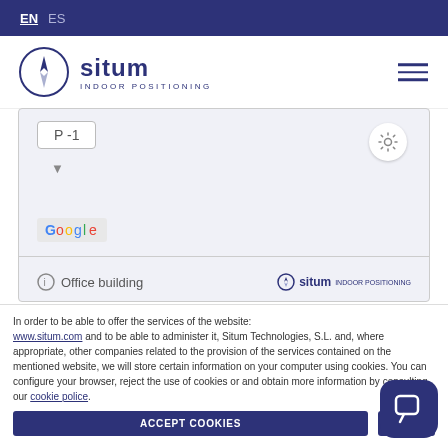EN  ES
[Figure (logo): Situm Indoor Positioning logo with circular compass icon and company name]
[Figure (screenshot): Mobile app screenshot showing P-1 floor selector, Google Maps view with gear icon, Office building label, and Situm branding]
1. Situm will localize the user within the green paths.
2. You may perform several calibration passes in each area.
3. Aim to cover all passable areas.
In order to be able to offer the services of the website: www.situm.com and to be able to administer it, Situm Technologies, S.L. and, where appropriate, other companies related to the provision of the services contained on the mentioned website, we will store certain information on your computer using cookies. You can configure your browser, reject the use of cookies or and obtain more information by consulting our cookie police.
ACCEPT COOKIES   NO